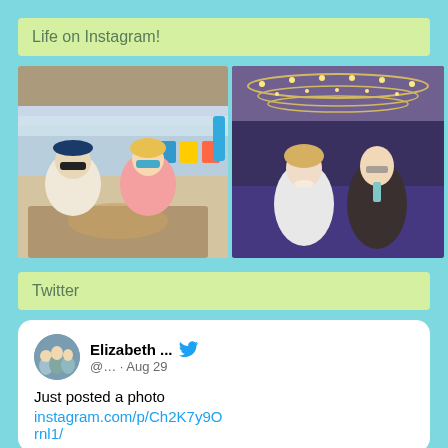Life on Instagram!
[Figure (photo): Two people (man in white shirt and blue cap with sunglasses, woman in pink top with blue sunglasses) sitting at an outdoor beach bar/restaurant with food on the table, ocean and colorful chairs in background]
[Figure (photo): Couple dressed formally (woman in white sparkly dress, man in dark suit with glasses) standing inside an elegant cruise ship dining room with chandelier ceiling]
Twitter
[Figure (screenshot): Tweet card showing: Avatar photo of family group, Name: Elizabeth ..., Twitter bird icon, Handle: @... · Aug 29, Body text: Just posted a photo, Link: instagram.com/p/Ch2K7y9O rnl1/]